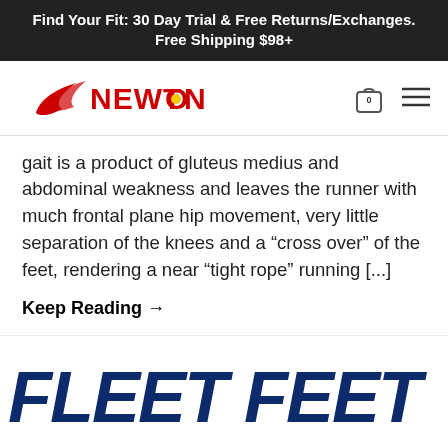Find Your Fit: 30 Day Trial & Free Returns/Exchanges. Free Shipping $98+
[Figure (logo): Newton Running logo — red swoosh with NEWTON text in red and yellow dot, top-left of navbar]
gait is a product of gluteus medius and abdominal weakness and leaves the runner with much frontal plane hip movement, very little separation of the knees and a “cross over” of the feet, rendering a near “tight rope” running [...]
Keep Reading →
[Figure (logo): Fleet Feet logo in large bold dark navy italic text]